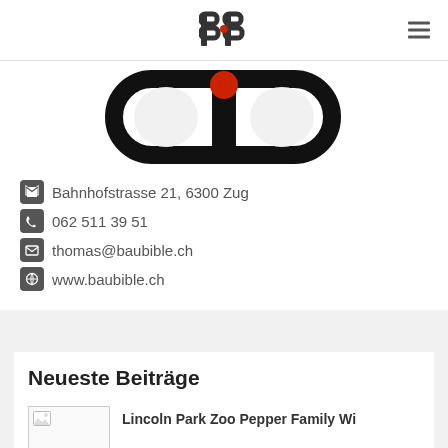BB logo and hamburger menu
[Figure (logo): Large BB logo mark - black pill/capsule shape with red dot]
Bahnhofstrasse 21, 6300 Zug
062 511 39 51
thomas@baubible.ch
www.baubible.ch
Neueste Beiträge
Lincoln Park Zoo Pepper Family Wi